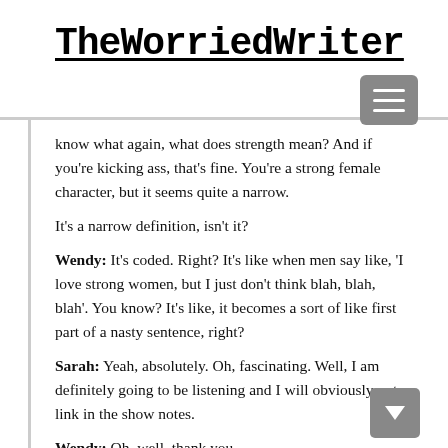TheWorriedWriter
know what again, what does strength mean? And if you're kicking ass, that's fine. You're a strong female character, but it seems quite a narrow.
It's a narrow definition, isn't it?
Wendy: It's coded. Right? It's like when men say like, 'I love strong women, but I just don't think blah, blah, blah'. You know? It's like, it becomes a sort of like first part of a nasty sentence, right?
Sarah: Yeah, absolutely. Oh, fascinating. Well, I am definitely going to be listening and I will obviously put a link in the show notes.
Wendy: Oh, well, thank you.